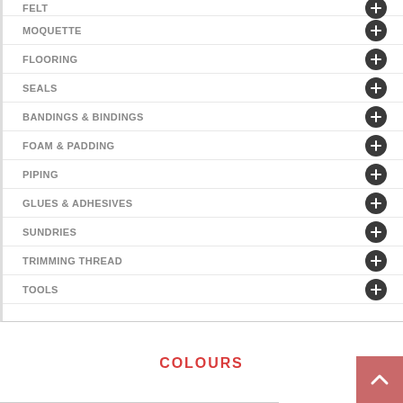FELT
MOQUETTE
FLOORING
SEALS
BANDINGS & BINDINGS
FOAM & PADDING
PIPING
GLUES & ADHESIVES
SUNDRIES
TRIMMING THREAD
TOOLS
COLOURS